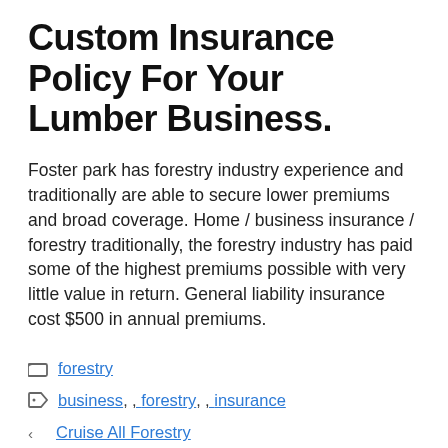Custom Insurance Policy For Your Lumber Business.
Foster park has forestry industry experience and traditionally are able to secure lower premiums and broad coverage. Home / business insurance / forestry traditionally, the forestry industry has paid some of the highest premiums possible with very little value in return. General liability insurance cost $500 in annual premiums.
forestry (category link)
business, forestry, insurance (tag links)
< Cruise All Forestry (previous link)
> Masters In Forestry Jobs (next link)